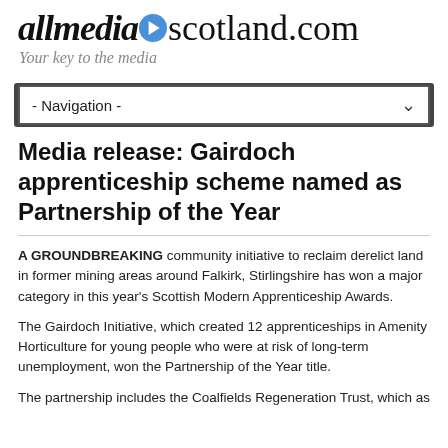allmediascotland.com — Your key to the media
Media release: Gairdoch apprenticeship scheme named as Partnership of the Year
A GROUNDBREAKING community initiative to reclaim derelict land in former mining areas around Falkirk, Stirlingshire has won a major category in this year's Scottish Modern Apprenticeship Awards.
The Gairdoch Initiative, which created 12 apprenticeships in Amenity Horticulture for young people who were at risk of long-term unemployment, won the Partnership of the Year title.
The partnership includes the Coalfields Regeneration Trust, which as